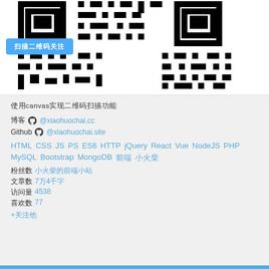[Figure (other): QR code image in black and white pixels]
扫描二维码关注
使用canvas实现二维码扫描功能
博客 ⊙ @xiaohuochai.cc
Github ⊙ @xiaohuochai.site
HTML CSS JS PS ES6 HTTP jQuery React Vue NodeJS PHP MySQL Bootstrap MongoDB 前端 小火柴
粉丝数 小火柴的前端小站
文章数 7万4千字
访问量 4538
喜欢数 77
+关注他